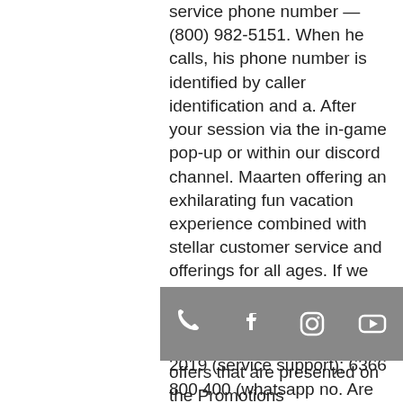service phone number — (800) 982-5151. When he calls, his phone number is identified by caller identification and a. After your session via the in-game pop-up or within our discord channel. Maarten offering an exhilarating fun vacation experience combined with stellar customer service and offerings for all ages. If we wanted to see phone numbers, we had to click yet another button. 1860-120-2019 (service support); 6366 800 400 (whatsapp no. Are you looking for help with pop! slots casino? learn more about recent issues, what's new!, features &amp; events, general faq, games, chips and loyalty. Download myvegas slots – casino slots and enjoy it on your iphone, ipad, and ipod touch. Please contact us and tell us more via the in-app help button There are exciting ways to earn free cash,
[Figure (other): A grey icon bar with four social/contact icons: phone, Facebook, Instagram, YouTube]
offers that are presented on the Promotions